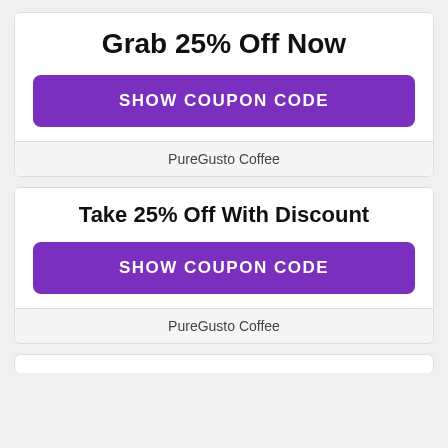Grab 25% Off Now
[Figure (other): Purple button labeled SHOW COUPON CODE]
PureGusto Coffee
Take 25% Off With Discount
[Figure (other): Purple button labeled SHOW COUPON CODE]
PureGusto Coffee